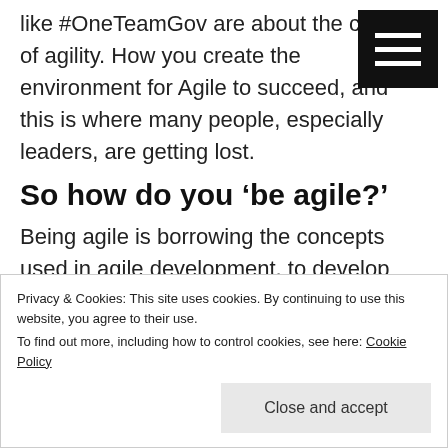like #OneTeamGov are about the culture of agility. How you create the environment for Agile to succeed, and this is where many people, especially leaders, are getting lost.
So how do you ‘be agile?’
Being agile is borrowing the concepts used in agile development, to develop that culture. As Tom Loosemore says when talking about Digital, it’s about
Privacy & Cookies: This site uses cookies. By continuing to use this website, you agree to their use.
To find out more, including how to control cookies, see here: Cookie Policy
Close and accept